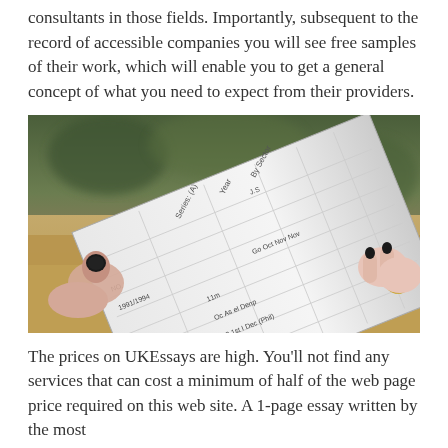consultants in those fields. Importantly, subsequent to the record of accessible companies you will see free samples of their work, which will enable you to get a general concept of what you need to expect from their providers.
[Figure (photo): A person holding a document/form (appears to be an academic or official record), viewed from above at an angle. The document shows printed text in columns. The person has dark nail polish and a ring on one hand visible at the right edge.]
The prices on UKEssays are high. You'll not find any services that can cost a minimum of half of the web page price required on this web site. A 1-page essay written by the most